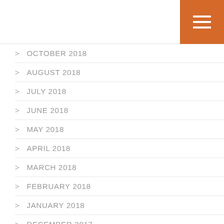> OCTOBER 2018
> AUGUST 2018
> JULY 2018
> JUNE 2018
> MAY 2018
> APRIL 2018
> MARCH 2018
> FEBRUARY 2018
> JANUARY 2018
> DECEMBER 2017
> NOVEMBER 2017